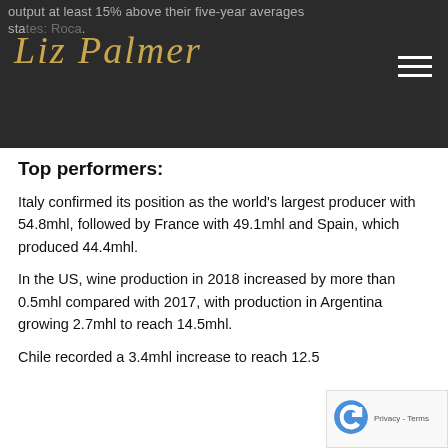output at least 15% above their five-year averages states: Roca.
Top performers:
Italy confirmed its position as the world's largest producer with 54.8mhl, followed by France with 49.1mhl and Spain, which produced 44.4mhl.
In the US, wine production in 2018 increased by more than 0.5mhl compared with 2017, with production in Argentina growing 2.7mhl to reach 14.5mhl.
Chile recorded a 3.4mhl increase to reach 12.5...